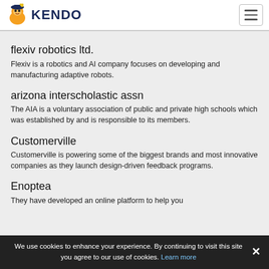KENDO
flexiv robotics ltd.
Flexiv is a robotics and AI company focuses on developing and manufacturing adaptive robots.
arizona interscholastic assn
The AIA is a voluntary association of public and private high schools which was established by and is responsible to its members.
Customerville
Customerville is powering some of the biggest brands and most innovative companies as they launch design-driven feedback programs.
Enoptea
They have developed an online platform to help you
We use cookies to enhance your experience. By continuing to visit this site you agree to our use of cookies. Learn more